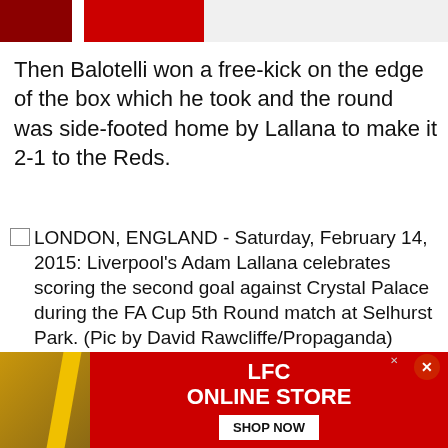[Figure (photo): Top portion of a football/soccer photo showing red jerseys and a dark maroon block, cropped at top of page]
Then Balotelli won a free-kick on the edge of the box which he took and the round was side-footed home by Lallana to make it 2-1 to the Reds.
LONDON, ENGLAND - Saturday, February 14, 2015: Liverpool's Adam Lallana celebrates scoring the second goal against Crystal Palace during the FA Cup 5th Round match at Selhurst Park. (Pic by David Rawcliffe/Propaganda)
Simon Mignolet was especially impressive in goal, while Balotelli's second half performance arguably changed the game in Liverpool's favo...
[Figure (infographic): LFC Online Store advertisement banner with red background, yellow diagonal stripe, person in green shirt, LFC ONLINE STORE text, and SHOP NOW button]